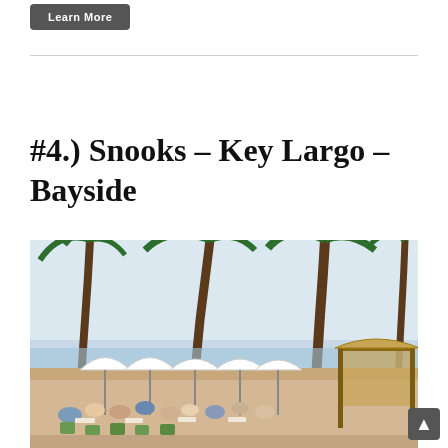Learn More
#4.) Snooks – Key Largo – Bayside
[Figure (photo): Outdoor waterfront restaurant scene with palm trees, white umbrellas, and diners seated at tables. A tiki bar structure is visible on the right side. The setting appears to be a bayside restaurant in Key Largo, Florida.]